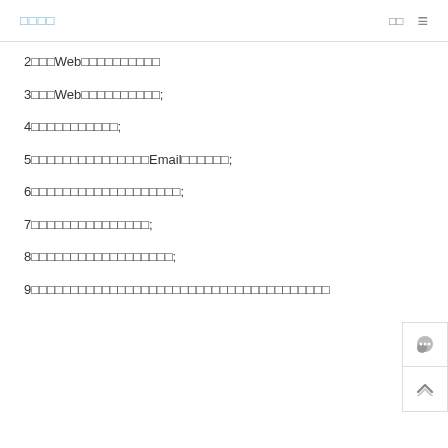□□□□ □□ ≡
2□□□Web□□□□□□□□□□
3□□□Web□□□□□□□□□□;
4□□□□□□□□□□□;
5□□□□□□□□□□□□□□□Email□□□□□□;
6□□□□□□□□□□□□□□□□□□□;
7□□□□□□□□□□□□□□□;
8□□□□□□□□□□□□□□□□□□;
9□□□□□□□□□□□□□□□□□□□□□□□□□□□□□□□□□□□□□□